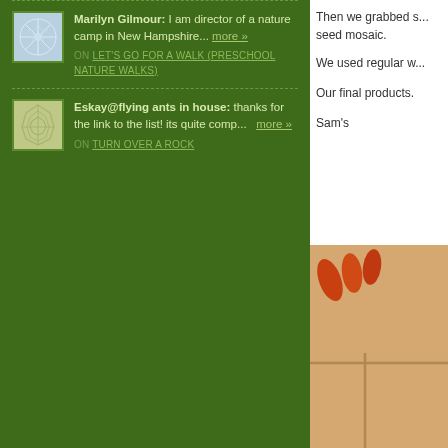Marilyn Gilmour: I am director of a nature camp in New Hampshire... more » ON LET'S GO FOR A WALK (PRESCHOOL NATURE WALKS)
Eskay@flying ants in house: thanks for the link to the list! its quite comp... more » ON TURN OVER A ROCK
Then we grabbed s... seed mosaic.
We used regular w...
Our final products.
Sam's
[Figure (photo): Close-up photo of a seed mosaic project showing orange seed shapes on a tan/beige background with visible score lines]